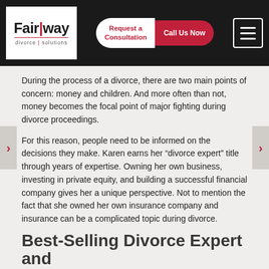Fairway divorce solutions — Request a Consultation | Call Us Now
During the process of a divorce, there are two main points of concern: money and children. And more often than not, money becomes the focal point of major fighting during divorce proceedings.
For this reason, people need to be informed on the decisions they make. Karen earns her “divorce expert” title through years of expertise. Owning her own business, investing in private equity, and building a successful financial company gives her a unique perspective. Not to mention the fact that she owned her own insurance company and insurance can be a complicated topic during divorce.
Best-Selling Divorce Expert and